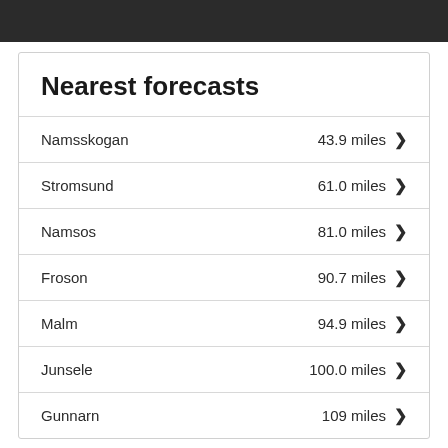Nearest forecasts
| Location | Distance |
| --- | --- |
| Namsskogan | 43.9 miles |
| Stromsund | 61.0 miles |
| Namsos | 81.0 miles |
| Froson | 90.7 miles |
| Malm | 94.9 miles |
| Junsele | 100.0 miles |
| Gunnarn | 109 miles |